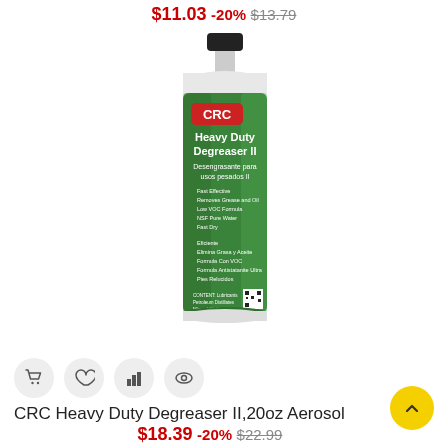$11.03  -20%  $13.79
[Figure (photo): CRC Heavy Duty Degreaser II 20oz aerosol spray can with green label and black cap]
CRC Heavy Duty Degreaser II,20oz Aerosol
$18.39  -20%  $22.99